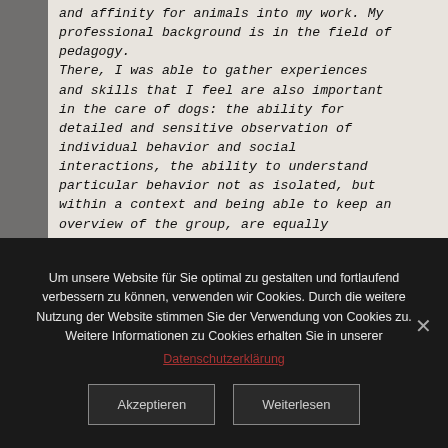and affinity for animals into my work. My professional background is in the field of pedagogy. There, I was able to gather experiences and skills that I feel are also important in the care of dogs: the ability for detailed and sensitive observation of individual behavior and social interactions, the ability to understand particular behavior not as isolated, but within a context and being able to keep an overview of the group, are equally important when working with dogs. I continuously deepen my knowledge and
Um unsere Website für Sie optimal zu gestalten und fortlaufend verbessern zu können, verwenden wir Cookies. Durch die weitere Nutzung der Website stimmen Sie der Verwendung von Cookies zu. Weitere Informationen zu Cookies erhalten Sie in unserer Datenschutzerklärung
Akzeptieren
Weiterlesen